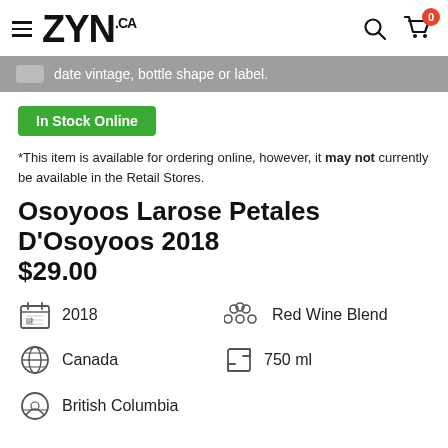ZYN.ca
date vintage, bottle shape or label.
In Stock Online
*This item is available for ordering online, however, it may not currently be available in the Retail Stores.
Osoyoos Larose Petales D'Osoyoos 2018
$29.00
2018
Red Wine Blend
Canada
750 ml
British Columbia